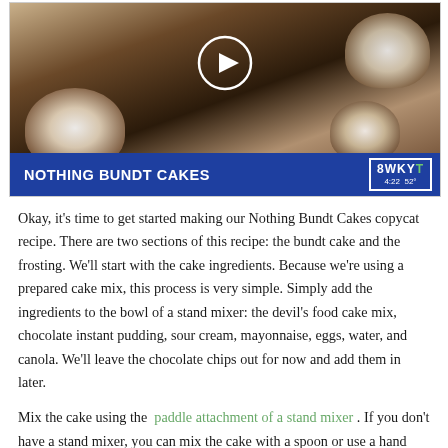[Figure (screenshot): TV news screenshot showing bundt cakes on a counter. Lower-third graphic reads 'OUT & ABOUT' above a blue banner with 'NOTHING BUNDT CAKES' and WKYT station bug showing 4:22 and 52°. A play button circle is overlaid at top center.]
Okay, it's time to get started making our Nothing Bundt Cakes copycat recipe. There are two sections of this recipe: the bundt cake and the frosting. We'll start with the cake ingredients. Because we're using a prepared cake mix, this process is very simple. Simply add the ingredients to the bowl of a stand mixer: the devil's food cake mix, chocolate instant pudding, sour cream, mayonnaise, eggs, water, and canola. We'll leave the chocolate chips out for now and add them in later.
Mix the cake using the paddle attachment of a stand mixer . If you don't have a stand mixer, you can mix the cake with a spoon or use a hand mixer. You're looking to fully incorporate